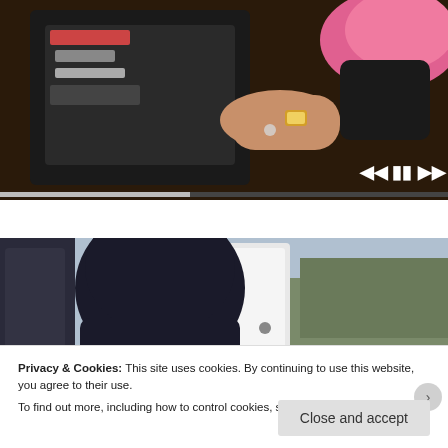[Figure (screenshot): Video player showing a woman organizing items in a bag, with playback controls (skip back, pause, skip forward) and a progress bar at the bottom]
Boomer Skills That Are Completely Useless Today
[Figure (photo): Photo of a person wearing a dark jacket and hat near a white vehicle, with pink boots visible, outdoor scene with bare trees in background]
Privacy & Cookies: This site uses cookies. By continuing to use this website, you agree to their use.
To find out more, including how to control cookies, see here: Cookie Policy